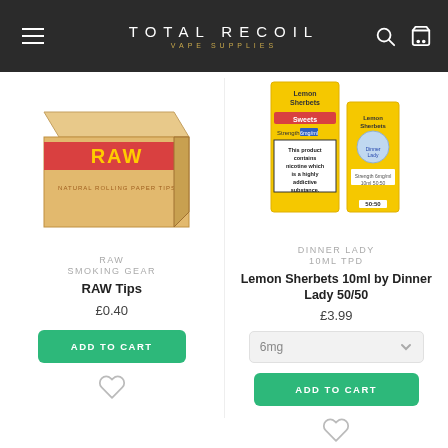TOTAL RECOIL VAPE SUPPLIES
[Figure (photo): RAW rolling paper tips box, wooden/cardboard packaging, partial top view]
[Figure (photo): Lemon Sherbets 10ml e-liquid by Dinner Lady, yellow packaging, nicotine warning label visible, 50/50 VG/PG, 6mg]
RAW
SMOKING GEAR
RAW Tips
£0.40
ADD TO CART
DINNER LADY
10ML TPD
Lemon Sherbets 10ml by Dinner Lady 50/50
£3.99
6mg
ADD TO CART